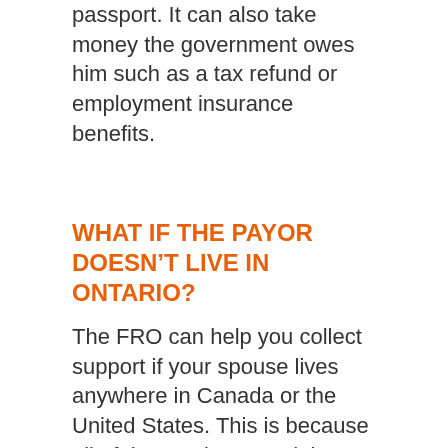passport. It can also take money the government owes him such as a tax refund or employment insurance benefits.
WHAT IF THE PAYOR DOESN'T LIVE IN ONTARIO?
The FRO can help you collect support if your spouse lives anywhere in Canada or the United States. This is because all of the provinces and the states have signed agreements that allow FROs to collect support orders across these boundaries. Ontario also has agreements with some other countries including Bermuda, Ghana, Hong Kong, the Czech Republic and the United Kingdom.
If your spouse lives in a country that does not have an agreement with